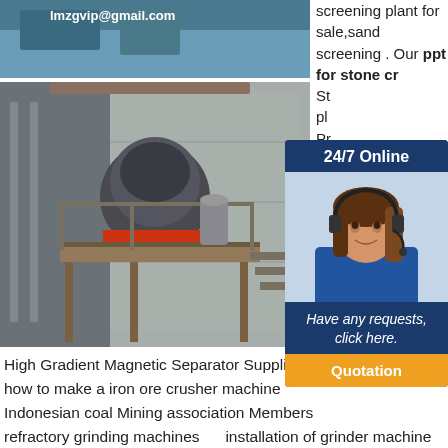[Figure (photo): Top partial photo showing equipment/email header with text visible at top]
[Figure (photo): Industrial cone crusher machine on elevated steel platform with concrete structure background, email overlay at bottom]
screening plant for sale,sand screening . Our ppt for stone cr...
[Figure (infographic): 24/7 Online chat widget with woman wearing headset, Have any requests, click here. Quotation button]
High Gradient Magnetic Separator Supplier
how to make a iron ore crusher machine
Indonesian coal Mining association Members
refractory grinding machines      installation of grinder machine
chromite ore processing flow chart
pyz 1200 cone crusher price indonesia
batu penggiling crusher jerman
mineral conveyor belt manufacturers
wet screening of iron ore fines
Gypsum Extraction and Processing